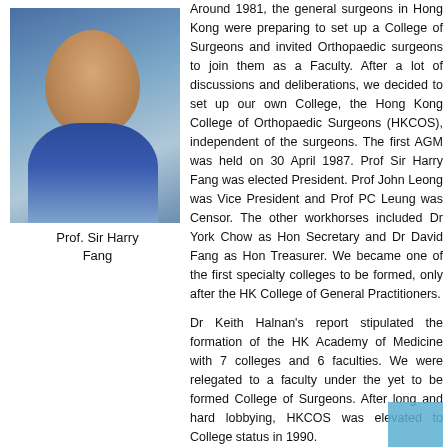[Figure (photo): Portrait photo of Prof. Sir Harry Fang in academic/formal attire]
Prof. Sir Harry Fang
Around 1981, the general surgeons in Hong Kong were preparing to set up a College of Surgeons and invited Orthopaedic surgeons to join them as a Faculty. After a lot of discussions and deliberations, we decided to set up our own College, the Hong Kong College of Orthopaedic Surgeons (HKCOS), independent of the surgeons. The first AGM was held on 30 April 1987. Prof Sir Harry Fang was elected President. Prof John Leong was Vice President and Prof PC Leung was Censor. The other workhorses included Dr York Chow as Hon Secretary and Dr David Fang as Hon Treasurer. We became one of the first specialty colleges to be formed, only after the HK College of General Practitioners.
Dr Keith Halnan's report stipulated the formation of the HK Academy of Medicine with 7 colleges and 6 faculties. We were relegated to a faculty under the yet to be formed College of Surgeons. After long and hard lobbying, HKCOS was elevated to College status in 1990.